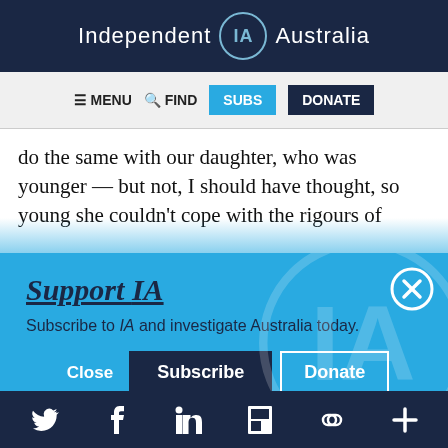Independent IA Australia
[Figure (screenshot): Navigation bar with hamburger menu MENU, search FIND, SUBS button (blue), DONATE button (dark navy)]
do the same with our daughter, who was younger — but not, I should have thought, so young she couldn't cope with the rigours of
[Figure (infographic): Support IA modal overlay on blue background with watermark IA logo, close X button, text 'Subscribe to IA and investigate Australia today.', and buttons: Close, Subscribe, Donate]
Social media icons: Twitter, Facebook, LinkedIn, Flipboard, link, plus